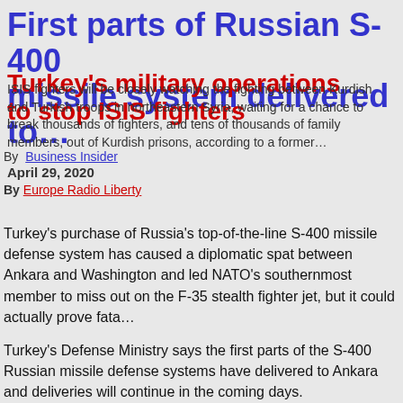First parts of Russian S-400 missile system delivered to…
Turkey's military operations to stop ISIS fighters will be closely watching the fighting between the Kurdish and Turkish system
ISIS fighters will be closely watching the fighting between Kurdish and Turkish troops in northeastern Syria, waiting for a chance to break thousands of fighters, and tens of thousands of family members, out of Kurdish prisons, according to a former…
By Business Insider
April 29, 2020
By Europe Radio Liberty
Turkey's purchase of Russia's top-of-the-line S-400 missile defense system has caused a diplomatic spat between Ankara and Washington and led NATO's southernmost member to miss out on the F-35 stealth fighter jet, but it could actually prove fata…
Turkey's Defense Ministry says the first parts of the S-400 Russian missile defense systems have delivered to Ankara and deliveries will continue in the coming days.
Ankara's deal with Moscow has been a major source of tension